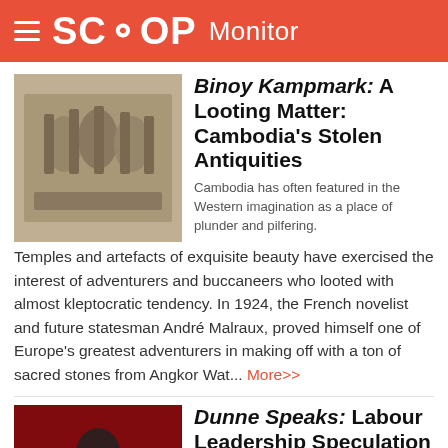SCOOP Monitor
Binoy Kampmark: A Looting Matter: Cambodia's Stolen Antiquities
Cambodia has often featured in the Western imagination as a place of plunder and pilfering. Temples and artefacts of exquisite beauty have exercised the interest of adventurers and buccaneers who looted with almost kleptocratic tendency. In 1924, the French novelist and future statesman André Malraux, proved himself one of Europe's greatest adventurers in making off with a ton of sacred stones from Angkor Wat... More>>
[Figure (photo): Stone carved relief image from Cambodian temple antiquities]
Dunne Speaks: Labour Leadership Speculation Premature And Facile
Speculation that the Prime Minister's leadership of the Labour Party may be at risk because of this week's adverse poll results is as exaggerated as it is premature and facile. While her popularity has plummeted from the artificially
[Figure (photo): Photo of a political event with person at podium with red signage]